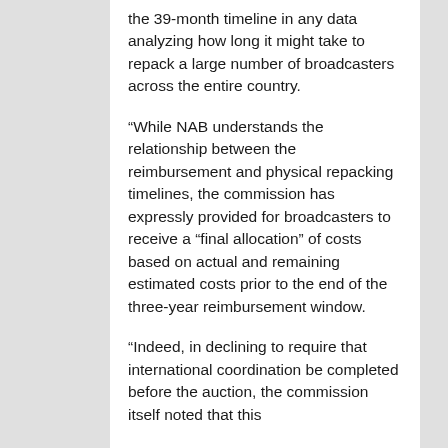the 39-month timeline in any data analyzing how long it might take to repack a large number of broadcasters across the entire country.
“While NAB understands the relationship between the reimbursement and physical repacking timelines, the commission has expressly provided for broadcasters to receive a “final allocation” of costs based on actual and remaining estimated costs prior to the end of the three-year reimbursement window.
“Indeed, in declining to require that international coordination be completed before the auction, the commission itself noted that this